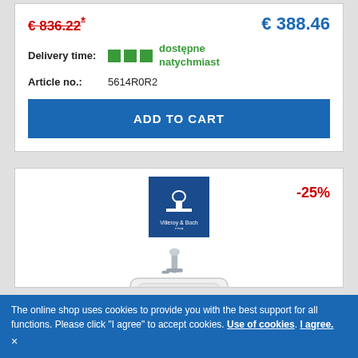€ 836.22* (strikethrough, old price)
€ 388.46 (new price)
Delivery time: dostępne natychmiast
Article no.: 5614R0R2
ADD TO CART
[Figure (photo): Villeroy & Boch brand logo on blue square background and product photo of bathroom sink vanity unit with chrome faucet on beige cabinet, discount badge -25%]
The online shop uses cookies to provide you with the best support for all functions. Please click "I agree" to accept cookies. Use of cookies. I agree. ×